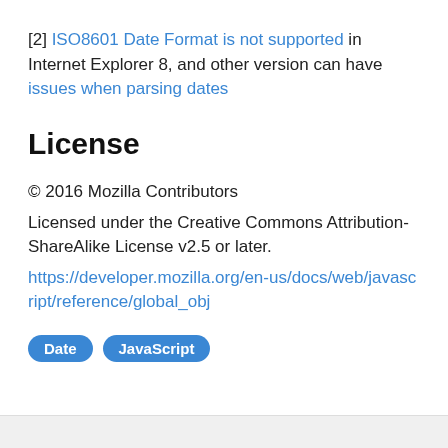[2] ISO8601 Date Format is not supported in Internet Explorer 8, and other version can have issues when parsing dates
License
© 2016 Mozilla Contributors
Licensed under the Creative Commons Attribution-ShareAlike License v2.5 or later.
https://developer.mozilla.org/en-us/docs/web/javascript/reference/global_obj
Date
JavaScript